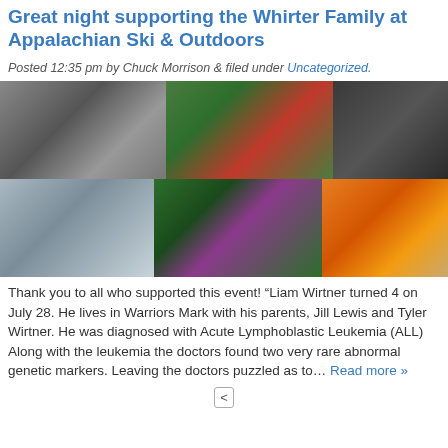Great night supporting the Whirter Family at Appalachian Ski & Outdoors
Posted 12:35 pm by Chuck Morrison & filed under Uncategorized.
[Figure (photo): Grid of six photos: a black-and-white photo of a dog and child, children in Christmas elf costumes, people in dark clothing, a family portrait, a Christmas tree store interior, and a child in a tiger hat]
Thank you to all who supported this event! “Liam Wirtner turned 4 on July 28. He lives in Warriors Mark with his parents, Jill Lewis and Tyler Wirtner. He was diagnosed with Acute Lymphoblastic Leukemia (ALL) Along with the leukemia the doctors found two very rare abnormal genetic markers. Leaving the doctors puzzled as to... Read more »